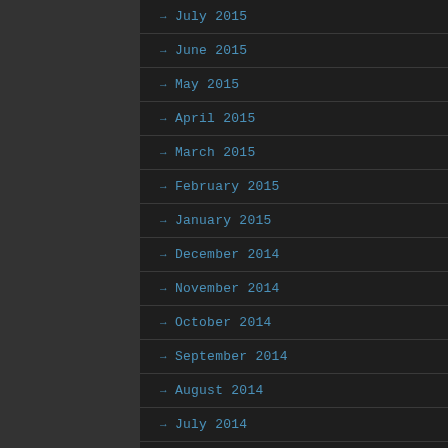July 2015
June 2015
May 2015
April 2015
March 2015
February 2015
January 2015
December 2014
November 2014
October 2014
September 2014
August 2014
July 2014
June 2014